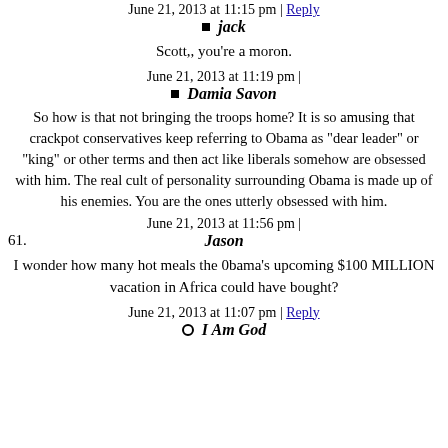June 21, 2013 at 11:15 pm | Reply
jack
Scott,, you're a moron.
June 21, 2013 at 11:19 pm |
Damia Savon
So how is that not bringing the troops home? It is so amusing that crackpot conservatives keep referring to Obama as "dear leader" or "king" or other terms and then act like liberals somehow are obsessed with him. The real cult of personality surrounding Obama is made up of his enemies. You are the ones utterly obsessed with him.
June 21, 2013 at 11:56 pm |
61. Jason
I wonder how many hot meals the 0bama's upcoming $100 MILLION vacation in Africa could have bought?
June 21, 2013 at 11:07 pm | Reply
I Am God